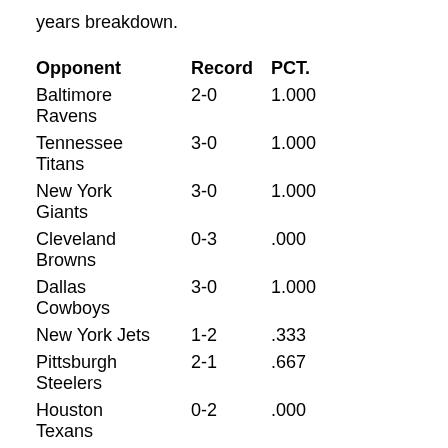years breakdown.
| Opponent | Record | PCT. |
| --- | --- | --- |
| Baltimore Ravens | 2-0 | 1.000 |
| Tennessee Titans | 3-0 | 1.000 |
| New York Giants | 3-0 | 1.000 |
| Cleveland Browns | 0-3 | .000 |
| Dallas Cowboys | 3-0 | 1.000 |
| New York Jets | 1-2 | .333 |
| Pittsburgh Steelers | 2-1 | .667 |
| Houston Texans | 0-2 | .000 |